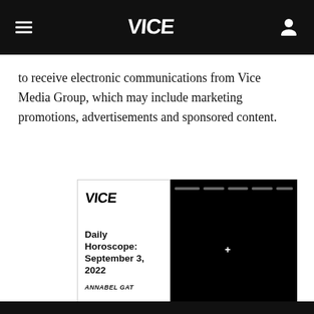VICE
to receive electronic communications from Vice Media Group, which may include marketing promotions, advertisements and sponsored content.
[Figure (screenshot): VICE article card showing 'Daily Horoscope: September 3, 2022' by ANNABEL GAT with a VICE logo on the left white panel and a dark/black video panel on the right with progress bar lines]